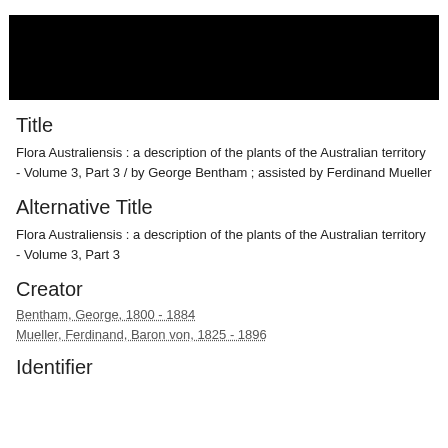[Figure (photo): Black rectangular image bar at the top of the page]
Title
Flora Australiensis : a description of the plants of the Australian territory - Volume 3, Part 3 / by George Bentham ; assisted by Ferdinand Mueller
Alternative Title
Flora Australiensis : a description of the plants of the Australian territory - Volume 3, Part 3
Creator
Bentham, George, 1800 - 1884
Mueller, Ferdinand, Baron von, 1825 - 1896
Identifier